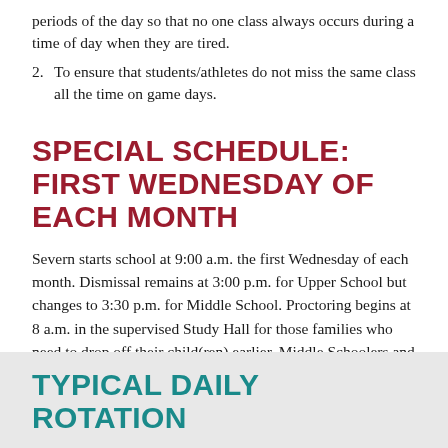periods of the day so that no one class always occurs during a time of day when they are tired.
2. To ensure that students/athletes do not miss the same class all the time on game days.
SPECIAL SCHEDULE: FIRST WEDNESDAY OF EACH MONTH
Severn starts school at 9:00 a.m. the first Wednesday of each month. Dismissal remains at 3:00 p.m. for Upper School but changes to 3:30 p.m. for Middle School. Proctoring begins at 8 a.m. in the supervised Study Hall for those families who need to drop off their child(ren) earlier. Middle Schoolers and Upper Schoolers report to Bauer Dining Hall. There is no charge for this service.
TYPICAL DAILY ROTATION